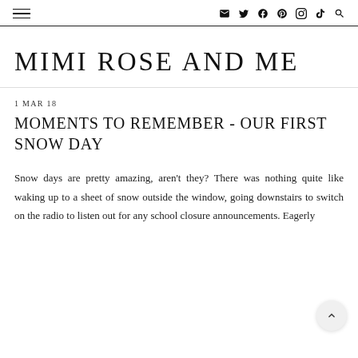≡  ✉ 𝕥 f ⓟ ⓘ ♪ 🔍
MIMI ROSE AND ME
1 MAR 18
MOMENTS TO REMEMBER - OUR FIRST SNOW DAY
Snow days are pretty amazing, aren't they? There was nothing quite like waking up to a sheet of snow outside the window, going downstairs to switch on the radio to listen out for any school closure announcements. Eagerly